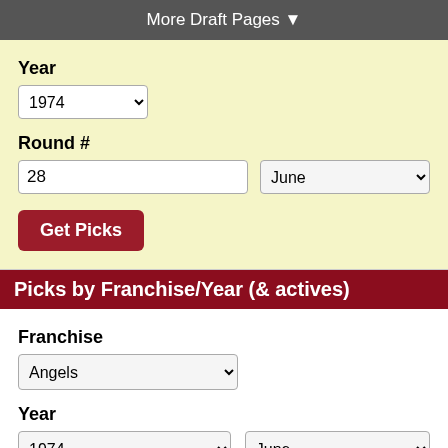More Draft Pages ▼
Year
1974
Round #
28
June
Get Picks
Picks by Franchise/Year (& actives)
Franchise
Angels
Year
1974
June
Get Picks